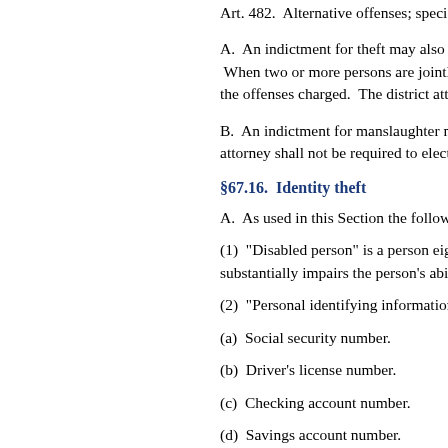Art. 482.  Alternative offenses; specia…
A.  An indictment for theft may also c… When two or more persons are jointly… the offenses charged.  The district atto…
B.  An indictment for manslaughter m… attorney shall not be required to elect b…
§67.16.  Identity theft
A.  As used in this Section the followi…
(1)  "Disabled person" is a person eigh… substantially impairs the person's abili…
(2)  "Personal identifying information'…
(a)  Social security number.
(b)  Driver's license number.
(c)  Checking account number.
(d)  Savings account number.